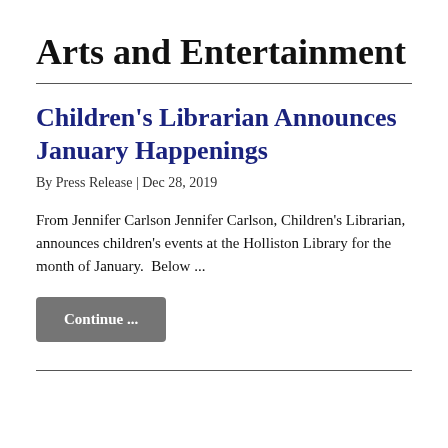Arts and Entertainment
Children's Librarian Announces January Happenings
By Press Release | Dec 28, 2019
From Jennifer Carlson Jennifer Carlson, Children's Librarian, announces children's events at the Holliston Library for the month of January.  Below ...
Continue ...